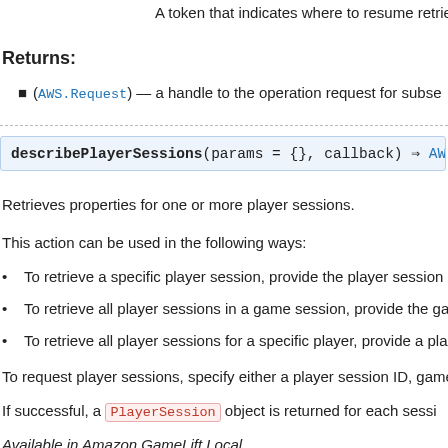A token that indicates where to resume retrieving resu
Returns:
(AWS.Request) — a handle to the operation request for subse
describePlayerSessions(params = {}, callback) ⇒ AWS
Retrieves properties for one or more player sessions.
This action can be used in the following ways:
To retrieve a specific player session, provide the player session I
To retrieve all player sessions in a game session, provide the ga
To retrieve all player sessions for a specific player, provide a pla
To request player sessions, specify either a player session ID, game
If successful, a PlayerSession object is returned for each sessi
Available in Amazon GameLift Local